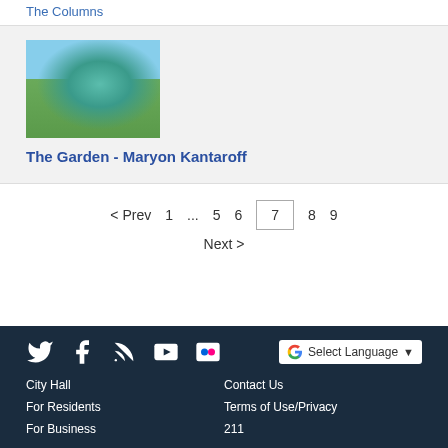The Columns
[Figure (photo): Outdoor sculpture photo - teal/green sphere sculpture in a garden setting]
The Garden - Maryon Kantaroff
< Prev  1  ...  5  6  7  8  9
Next >
Twitter Facebook RSS YouTube Flickr | Select Language
City Hall | Contact Us
For Residents | Terms of Use/Privacy
For Business | 211